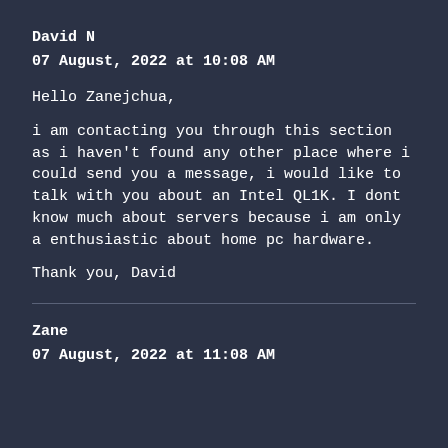David N
07 August, 2022 at 10:08 AM
Hello Zanejchua,
i am contacting you through this section as i haven't found any other place where i could send you a message, i would like to talk with you about an Intel QL1K. I dont know much about servers because i am only a enthusiastic about home pc hardware.
Thank you, David
Zane
07 August, 2022 at 11:08 AM